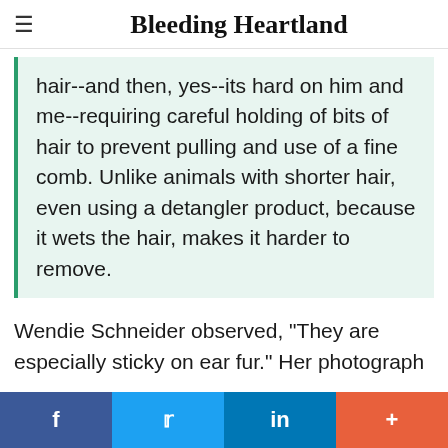Bleeding Heartland
hair--and then, yes--its hard on him and me--requiring careful holding of bits of hair to prevent pulling and use of a fine comb. Unlike animals with shorter hair, even using a detangler product, because it wets the hair, makes it harder to remove.
Wendie Schneider observed, "They are especially sticky on ear fur." Her photograph
f  [twitter]  in  +